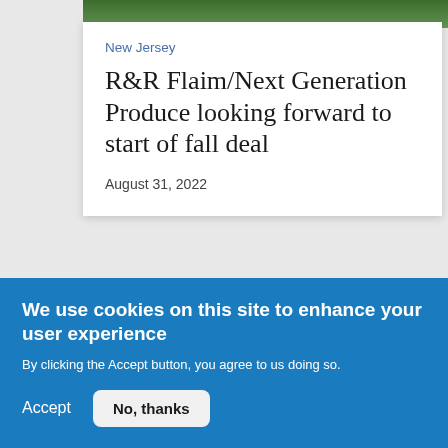[Figure (photo): Partial image of a person in a field or garden with green foliage in the background]
New Jersey
R&R Flaim/Next Generation Produce looking forward to start of fall deal
August 31, 2022
- ADVERTISEMENT -
[Figure (photo): Advertisement image showing blue sky with clouds and a moon/sun circle]
We use cookies on this site to enhance your user experience
By clicking the Accept button, you agree to us doing so.